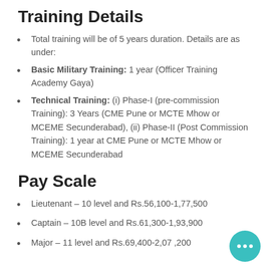Training Details
Total training will be of 5 years duration. Details are as under:
Basic Military Training: 1 year (Officer Training Academy Gaya)
Technical Training: (i) Phase-I (pre-commission Training): 3 Years (CME Pune or MCTE Mhow or MCEME Secunderabad), (ii) Phase-II (Post Commission Training): 1 year at CME Pune or MCTE Mhow or MCEME Secunderabad
Pay Scale
Lieutenant – 10 level and Rs.56,100-1,77,500
Captain – 10B level and Rs.61,300-1,93,900
Major – 11 level and Rs.69,400-2,07 ,200